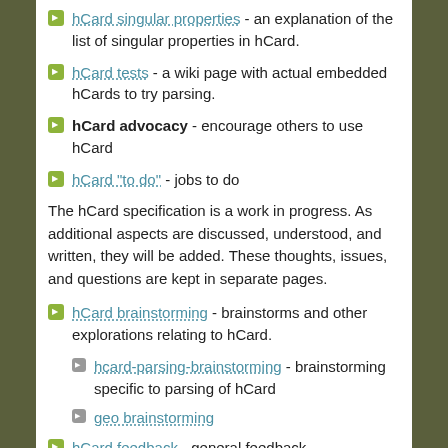hCard singular properties - an explanation of the list of singular properties in hCard.
hCard tests - a wiki page with actual embedded hCards to try parsing.
hCard advocacy - encourage others to use hCard
hCard "to do" - jobs to do
The hCard specification is a work in progress. As additional aspects are discussed, understood, and written, they will be added. These thoughts, issues, and questions are kept in separate pages.
hCard brainstorming - brainstorms and other explorations relating to hCard.
hcard-parsing-brainstorming - brainstorming specific to parsing of hCard
geo brainstorming
hCard feedback - general feedback